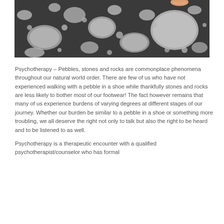[Figure (photo): Close-up photograph of pebbles and stones on a dark gravel beach, with a finger visible at the top picking up a stone.]
Psychotherapy – Pebbles, stones and rocks are commonplace phenomena throughout our natural world order. There are few of us who have not experienced walking with a pebble in a shoe while thankfully stones and rocks are less likely to bother most of our footwear! The fact however remains that many of us experience burdens of varying degrees at different stages of our journey. Whether our burden be similar to a pebble in a shoe or something more troubling, we all deserve the right not only to talk but also the right to be heard and to be listened to as well.
Psychotherapy is a therapeutic encounter with a qualified psychotherapist/counselor who has formal